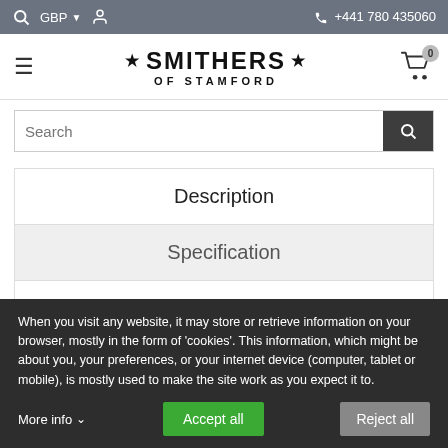GBP  ☎ +441 780 435060
[Figure (logo): Smithers of Stamford logo with hamburger menu and shopping cart]
[Figure (screenshot): Search input bar with search button]
Description
Specification
Shipping
When you visit any website, it may store or retrieve information on your browser, mostly in the form of 'cookies'. This information, which might be about you, your preferences, or your internet device (computer, tablet or mobile), is mostly used to make the site work as you expect it to.